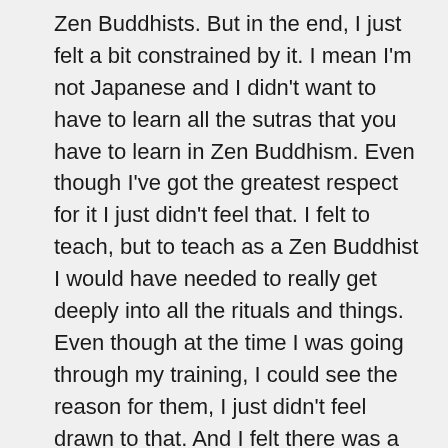Zen Buddhists. But in the end, I just felt a bit constrained by it. I mean I'm not Japanese and I didn't want to have to learn all the sutras that you have to learn in Zen Buddhism. Even though I've got the greatest respect for it I just didn't feel that. I felt to teach, but to teach as a Zen Buddhist I would have needed to really get deeply into all the rituals and things. Even though at the time I was going through my training, I could see the reason for them, I just didn't feel drawn to that. And I felt there was a real need for teachers who weren't into a traditional religion. A lot of people who come here are really interested in becoming more conscious, but don't want any of the rituals and traditions. Even though what we do is really basic Zen Buddhist meditation – it's